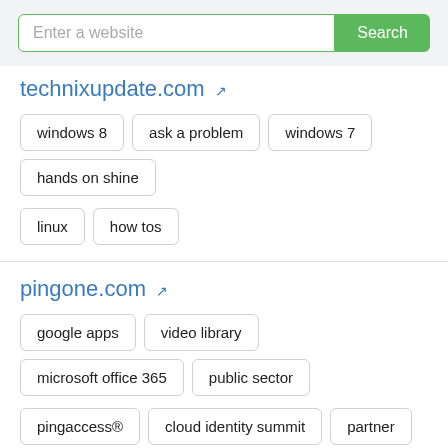Enter a website
Search
technixupdate.com
windows 8
ask a problem
windows 7
hands on shine
linux
how tos
pingone.com
google apps
video library
microsoft office 365
public sector
pingaccess®
cloud identity summit
partner